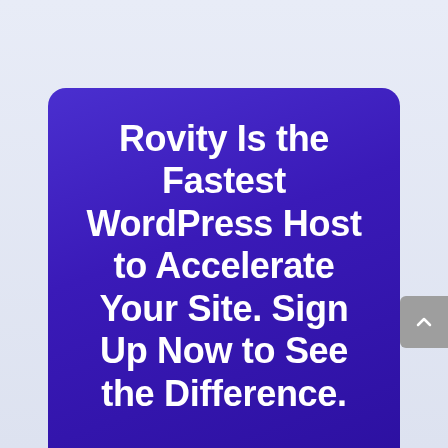[Figure (screenshot): A purple gradient card with white bold text reading 'Rovity Is the Fastest WordPress Host to Accelerate Your Site. Sign Up Now to See the Difference.' and a white pill-shaped 'Subscribe Now' button with red text. A gray scroll-to-top arrow button is visible on the right edge.]